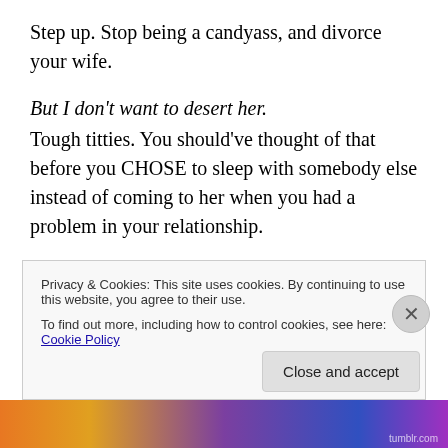Step up. Stop being a candyass, and divorce your wife.
But I don't want to desert her.
Tough titties. You should've thought of that before you CHOSE to sleep with somebody else instead of coming to her when you had a problem in your relationship.
I still love her, though…and I took a vow.
Sticking around for her is the worst thing you could do. If you're at this point, all that you're doing is stealing her time by keeping her from finding somebody she'll love...
Privacy & Cookies: This site uses cookies. By continuing to use this website, you agree to their use.
To find out more, including how to control cookies, see here: Cookie Policy
Close and accept